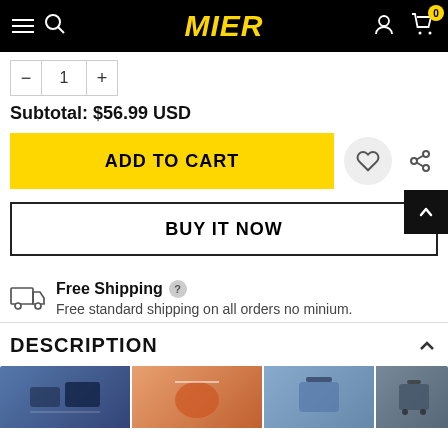MIER — Navigation bar with menu, search, account, and cart (0 items)
Quantity: — 1 +
Subtotal:  $56.99 USD
ADD TO CART
BUY IT NOW
Free Shipping   Free standard shipping on all orders no minium.
DESCRIPTION
[Figure (photo): Product lifestyle images strip showing sports/outdoor bags]